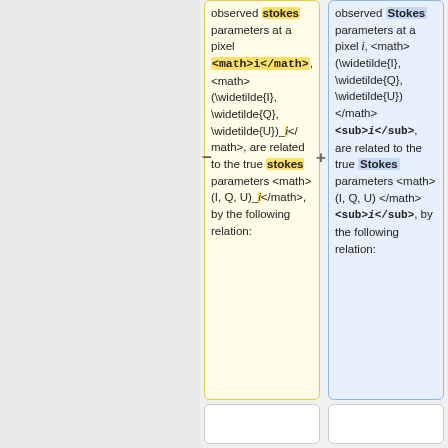observed stokes parameters at a pixel <math>i</math>, <math>(\widetilde{I}, \widetilde{Q}, \widetilde{U})_i</math>, are related to the true stokes parameters <math>(I, Q, U)_i</math>, by the following relation:
observed Stokes parameters at a pixel <i>i</i>, <math>(\widetilde{I}, \widetilde{Q}, \widetilde{U})</math><sub><i>i</i></sub>, are related to the true Stokes parameters <math>(I, Q, U)</math><sub><i>i</i></sub>, by the following relation: